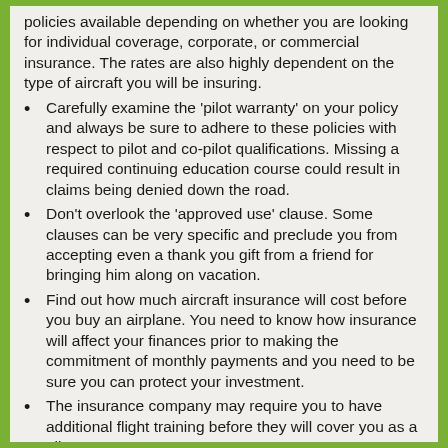policies available depending on whether you are looking for individual coverage, corporate, or commercial insurance. The rates are also highly dependent on the type of aircraft you will be insuring.
Carefully examine the 'pilot warranty' on your policy and always be sure to adhere to these policies with respect to pilot and co-pilot qualifications. Missing a required continuing education course could result in claims being denied down the road.
Don't overlook the 'approved use' clause. Some clauses can be very specific and preclude you from accepting even a thank you gift from a friend for bringing him along on vacation.
Find out how much aircraft insurance will cost before you buy an airplane. You need to know how insurance will affect your finances prior to making the commitment of monthly payments and you need to be sure you can protect your investment.
The insurance company may require you to have additional flight training before they will cover you as a pilot.
Look into the different types of hull coverage and buy